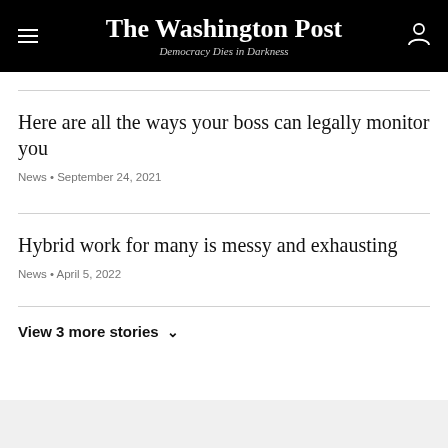The Washington Post — Democracy Dies in Darkness
Here are all the ways your boss can legally monitor you
News • September 24, 2021
Hybrid work for many is messy and exhausting
News • April 5, 2022
View 3 more stories